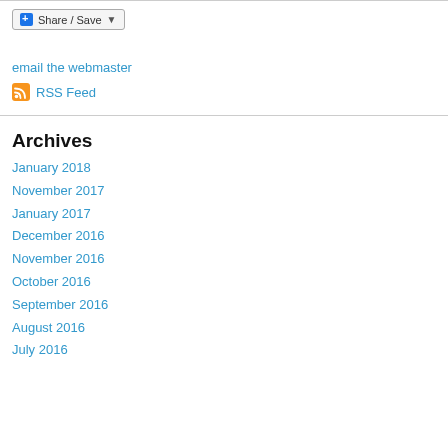[Figure (other): Share / Save button widget with blue plus icon and dropdown arrow]
email the webmaster
RSS Feed
Archives
January 2018
November 2017
January 2017
December 2016
November 2016
October 2016
September 2016
August 2016
July 2016